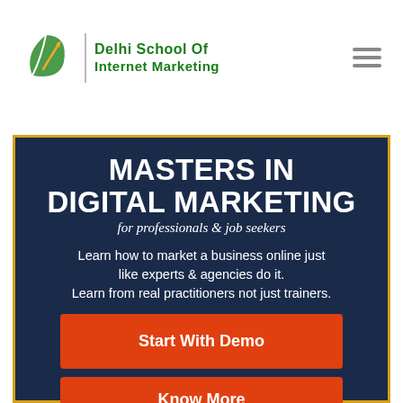Delhi School Of Internet Marketing
Instead of a landing page.
MASTERS IN DIGITAL MARKETING
for professionals & job seekers
Learn how to market a business online just like experts & agencies do it.
Learn from real practitioners not just trainers.
Start With Demo
Know More